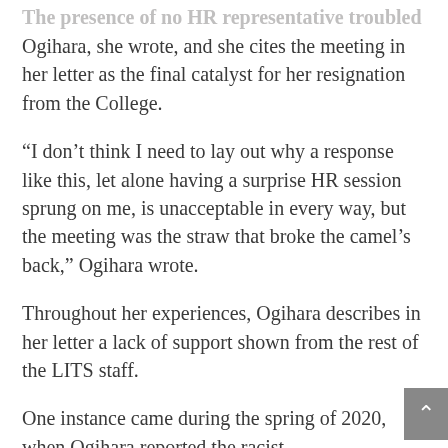The presence of no HR representative troubled Ogihara, she wrote, and she cites the meeting in her letter as the final catalyst for her resignation from the College.
“I don’t think I need to lay out why a response like this, let alone having a surprise HR session sprung on me, is unacceptable in every way, but the meeting was the straw that broke the camel’s back,” Ogihara wrote.
Throughout her experiences, Ogihara describes in her letter a lack of support shown from the rest of the LITS staff.
One instance came during the spring of 2020, when Ogihara reported the racist microaggressions surrounding COVID-19 to the Chief Information Officer (CIO) in LITS, Roberta